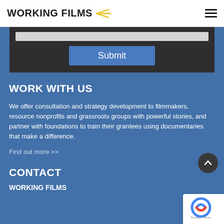WORKING FILMS
[Figure (screenshot): Submit button area with dark background, input bar and blue Submit button]
WORK WITH US
We offer consultation and strategy development to filmmakers, resource nonprofits and grassroots groups with powerful stories, and partner with foundations to train their grantees using documentaries that make a difference.
Find out more >>
CONTACT
WORKING FILMS